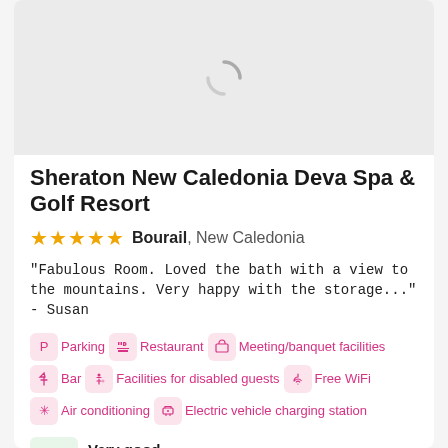[Figure (photo): Loading placeholder with spinner icon for hotel image]
Sheraton New Caledonia Deva Spa & Golf Resort
★★★★★ Bourail, New Caledonia
"Fabulous Room. Loved the bath with a view to the mountains. Very happy with the storage..." - Susan
Parking
Restaurant
Meeting/banquet facilities
Bar
Facilities for disabled guests
Free WiFi
Air conditioning
Electric vehicle charging station
7.9 Very good 1 151 OPINIONS